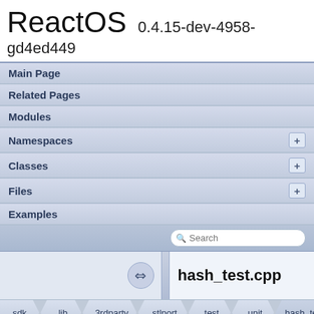ReactOS 0.4.15-dev-4958-gd4ed449
Main Page
Related Pages
Modules
Namespaces
Classes
Files
Examples
hash_test.cpp
sdk  lib  3rdparty  stlport  test  unit  hash_test.cpp